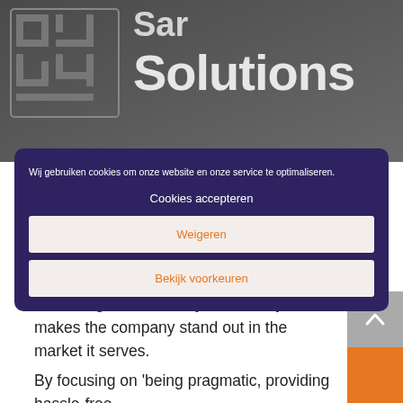[Figure (photo): Dark grey background photo showing partial text 'Solutions' in large white letters with a maze-like logo icon on the left]
Wij gebruiken cookies om onze website en onze service te optimaliseren.
Cookies accepteren
Weigeren
Bekijk voorkeuren
Skyne developed a matching and refreshing brand identity that clearly makes the company stand out in the market it serves.
By focusing on 'being pragmatic, providing hassle-free